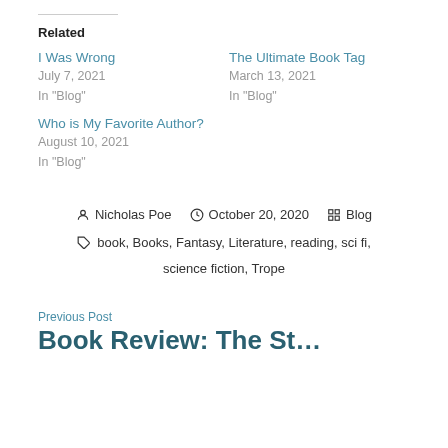Related
I Was Wrong
July 7, 2021
In "Blog"
The Ultimate Book Tag
March 13, 2021
In "Blog"
Who is My Favorite Author?
August 10, 2021
In "Blog"
Nicholas Poe  October 20, 2020  Blog
book, Books, Fantasy, Literature, reading, sci fi, science fiction, Trope
Previous Post
Book Review: The St…